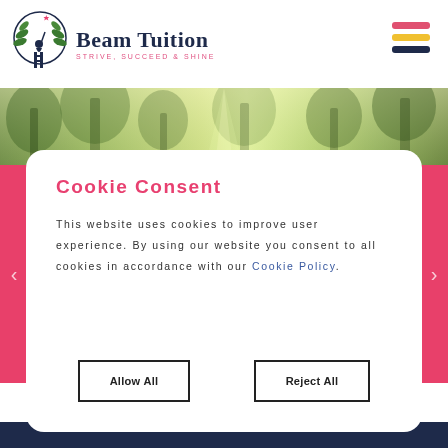Beam Tuition — STRIVE, SUCCEED & SHINE
[Figure (screenshot): Forest/nature background banner image used as hero section background]
Cookie Consent
This website uses cookies to improve user experience. By using our website you consent to all cookies in accordance with our Cookie Policy.
Allow All
Reject All